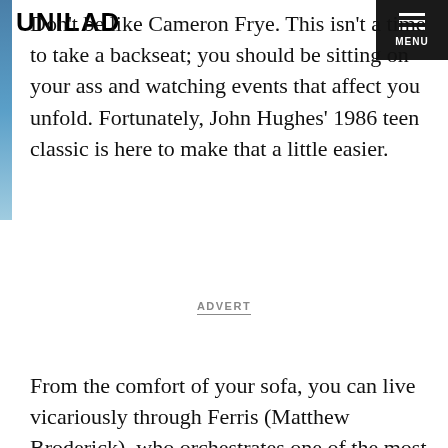UNILAD
Don't be like Cameron Frye. This isn't a time to take a backseat; you should be sitting on your ass and watching events that affect you unfold. Fortunately, John Hughes' 1986 teen classic is here to make that a little easier.
ADVERT
From the comfort of your sofa, you can live vicariously through Ferris (Matthew Broderick), who orchestrates one of the most incredible days off in cinematic history.